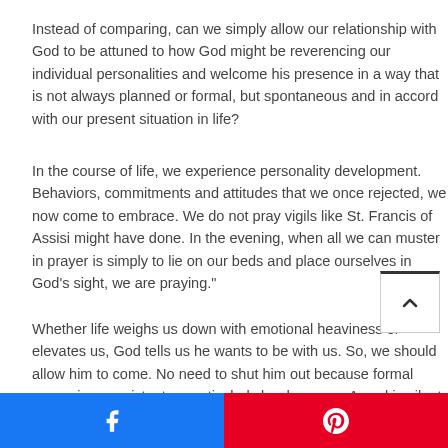Instead of comparing, can we simply allow our relationship with God to be attuned to how God might be reverencing our individual personalities and welcome his presence in a way that is not always planned or formal, but spontaneous and in accord with our present situation in life?
In the course of life, we experience personality development. Behaviors, commitments and attitudes that we once rejected, we now come to embrace. We do not pray vigils like St. Francis of Assisi might have done. In the evening, when all we can muster in prayer is simply to lie on our beds and place ourselves in God's sight, we are praying.
Whether life weighs us down with emotional heaviness or elevates us, God tells us he wants to be with us. So, we should allow him to come. No need to shut him out because formal prayer is nonexistent or particularly burdensome. A soul in silent availability or in the joy of daily ministerial routine – both are prayer to our own at any stage of our lives.